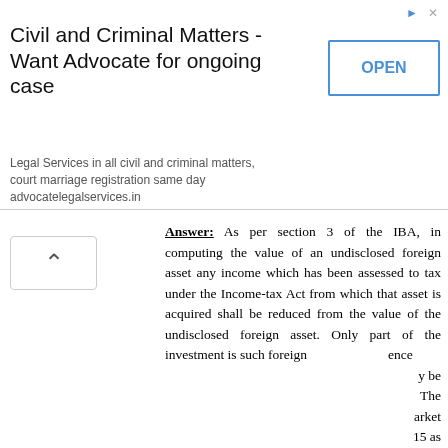[Figure (screenshot): Advertisement banner: Civil and Criminal Matters - Want Advocate for ongoing case. Legal Services in all civil and criminal matters, court marriage registration same day advocatelegalservices.in. OPEN button on right.]
Answer: As per section 3 of the IBA, in computing the value of an undisclosed foreign asset any income which has been assessed to tax under the Income-tax Act from which that asset is acquired shall be reduced from the value of the undisclosed foreign asset. Only part of the investment is such foreign [asset from income assessable or assessed...] ...ence ...y be The ...arket ...15 as ...d in
[Figure (screenshot): Email subscription popup: Subscribe by Email Get Free Updates. Gmail icon with Enter your Email Address field and Subscribe button in purple. Don't Forget To Join US Our Community text in green.]